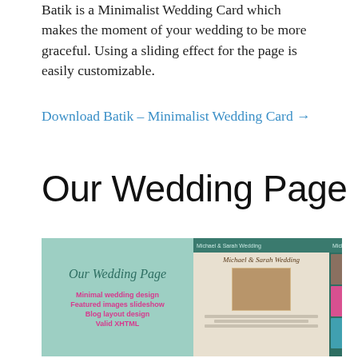Batik is a Minimalist Wedding Card which makes the moment of your wedding to be more graceful. Using a sliding effect for the page is easily customizable.
Download Batik – Minimalist Wedding Card →
Our Wedding Page
[Figure (screenshot): Screenshot of the 'Our Wedding Page' WordPress theme showing a teal/mint color scheme with the theme name in cursive on the left panel, feature list in pink text, and a multi-column layout preview with wedding photos.]